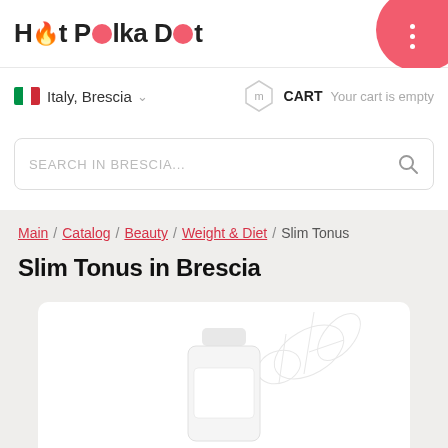Hot Polka Dot
Italy, Brescia
CART Your cart is empty
SEARCH IN BRESCIA...
Main / Catalog / Beauty / Weight & Diet / Slim Tonus
Slim Tonus in Brescia
[Figure (photo): Product image of Slim Tonus supplement bottle with decorative botanical line art on white card background]